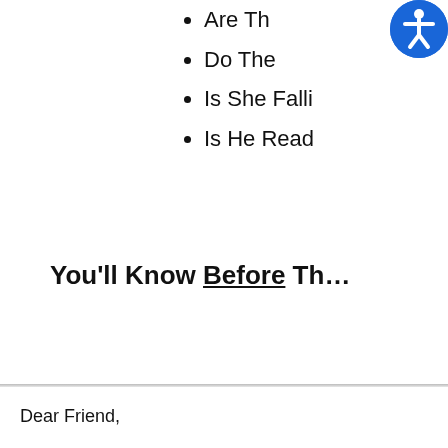Are Th…
Do The…
Is She Falli…
Is He Read…
You'll Know Before Th…
Dear Friend,
The man sitting behind the desk was cool and relaxed a…
The fact was, he was low on the list of suspects in the… only a loose connection to the victim.
Still, from more than 25 years of dealing with the most…